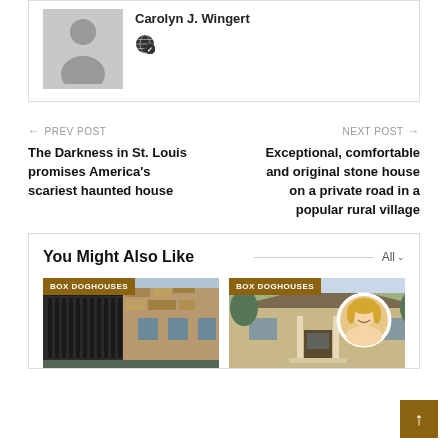[Figure (photo): Author card with gray placeholder avatar silhouette and a globe icon below the author name]
← PREV POST
The Darkness in St. Louis promises America's scariest haunted house
NEXT POST →
Exceptional, comfortable and original stone house on a private road in a popular rural village
You Might Also Like
[Figure (photo): Card with BOX DOGHOUSES badge showing a modern dark building next to stone architecture]
[Figure (photo): Card with BOX DOGHOUSES badge showing a house with a circular portrait of a blonde woman overlaid]